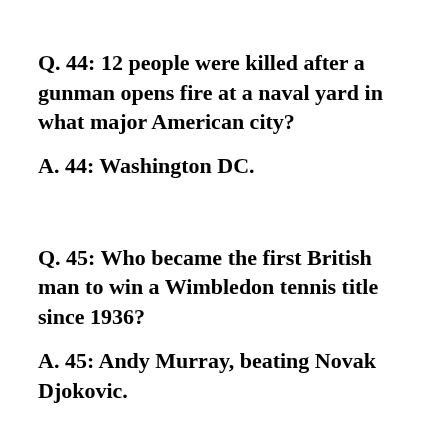Q. 44:  12 people were killed after a gunman opens fire at a naval yard in what major American city?
A. 44:  Washington DC.
Q. 45:  Who became the first British man to win a Wimbledon tennis title since 1936?
A. 45:  Andy Murray,  beating Novak Djokovic.